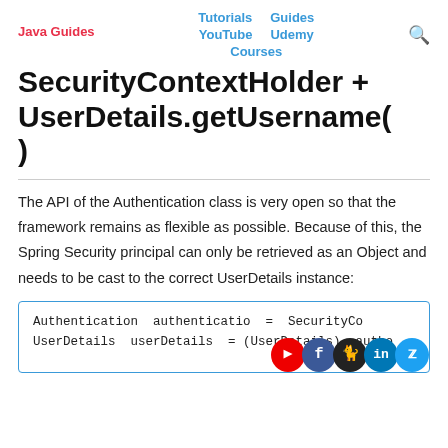Java Guides | Tutorials | Guides | YouTube | Udemy | Courses
SecurityContextHolder + UserDetails.getUsername()
The API of the Authentication class is very open so that the framework remains as flexible as possible. Because of this, the Spring Security principal can only be retrieved as an Object and needs to be cast to the correct UserDetails instance:
[Figure (screenshot): Code box showing: Authentication authentication = ...; UserDetails userDetails = (UserDetails) autho...]